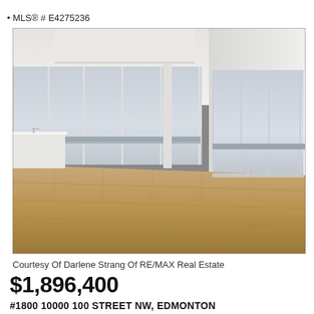MLS® # E4275236
[Figure (photo): Interior photo of a high-rise luxury condo with large floor-to-ceiling windows, hardwood floors, and a panoramic city view. Empty open-concept living space with white kitchen island visible on the left.]
Courtesy Of Darlene Strang Of RE/MAX Real Estate
$1,896,400
#1800 10000 100 STREET NW, EDMONTON